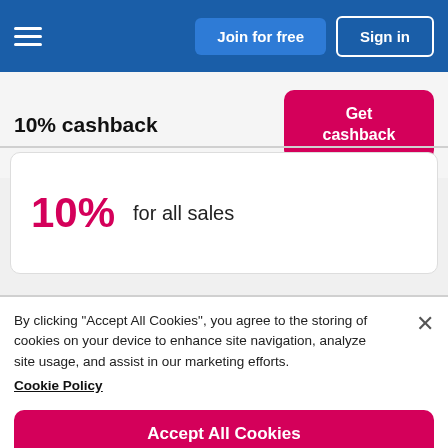Join for free | Sign in
10% cashback
10% for all sales
By clicking "Accept All Cookies", you agree to the storing of cookies on your device to enhance site navigation, analyze site usage, and assist in our marketing efforts. Cookie Policy
Accept All Cookies
Cookies Settings